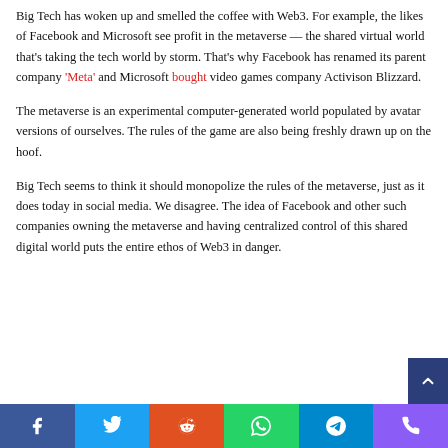Big Tech has woken up and smelled the coffee with Web3. For example, the likes of Facebook and Microsoft see profit in the metaverse — the shared virtual world that's taking the tech world by storm. That's why Facebook has renamed its parent company 'Meta' and Microsoft bought video games company Activison Blizzard.
The metaverse is an experimental computer-generated world populated by avatar versions of ourselves. The rules of the game are also being freshly drawn up on the hoof.
Big Tech seems to think it should monopolize the rules of the metaverse, just as it does today in social media. We disagree. The idea of Facebook and other such companies owning the metaverse and having centralized control of this shared digital world puts the entire ethos of Web3 in danger.